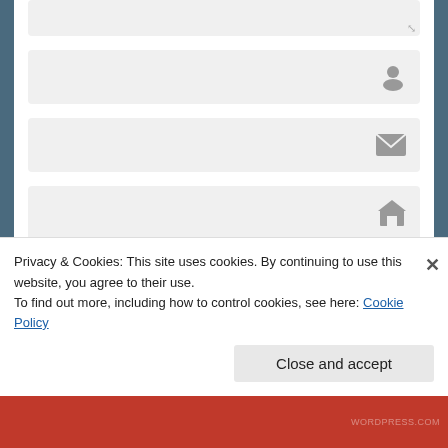[Figure (screenshot): Web form textarea field (resizable, light gray background)]
[Figure (screenshot): Web form input field with user/person icon on the right]
[Figure (screenshot): Web form input field with email/envelope icon on the right]
[Figure (screenshot): Web form input field with home/house icon on the right]
[Figure (screenshot): Dark 'Post Comment' button]
Notify me of new comments via email.
Privacy & Cookies: This site uses cookies. By continuing to use this website, you agree to their use.
To find out more, including how to control cookies, see here: Cookie Policy
[Figure (screenshot): Close and accept button for cookie banner]